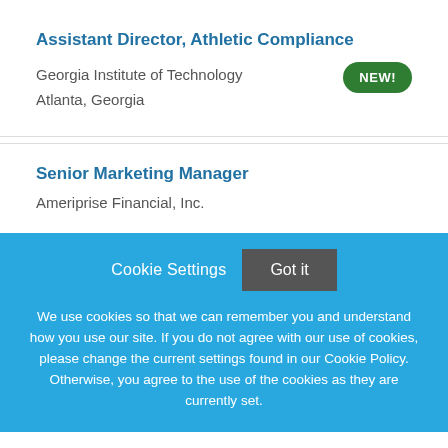Assistant Director, Athletic Compliance
Georgia Institute of Technology
Atlanta, Georgia
Senior Marketing Manager
Ameriprise Financial, Inc.
Cookie Settings
Got it
We use cookies so that we can remember you and understand how you use our site. If you do not agree with our use of cookies, please change the current settings found in our Cookie Policy. Otherwise, you agree to the use of the cookies as they are currently set.